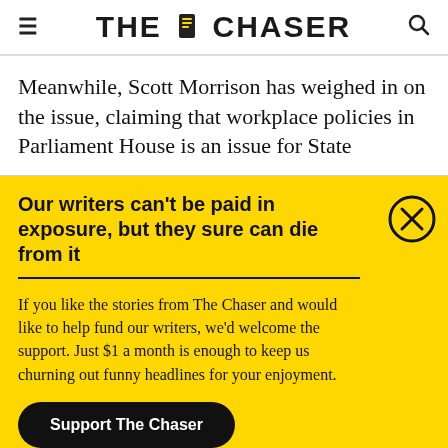THE CHASER
Meanwhile, Scott Morrison has weighed in on the issue, claiming that workplace policies in Parliament House is an issue for State
Our writers can't be paid in exposure, but they sure can die from it
If you like the stories from The Chaser and would like to help fund our writers, we'd welcome the support. Just $1 a month is enough to keep us churning out funny headlines for your enjoyment.
Support The Chaser
Sick of this popup? Click here to never see this again.